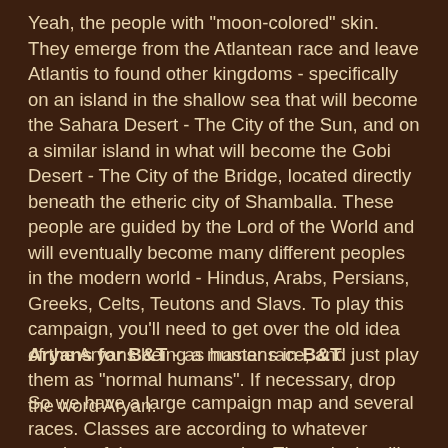Yeah, the people with "moon-colored" skin. They emerge from the Atlantean race and leave Atlantis to found other kingdoms - specifically on an island in the shallow sea that will become the Sahara Desert - The City of the Sun, and on a similar island in what will become the Gobi Desert - The City of the Bridge, located directly beneath the etheric city of Shamballa. These people are guided by the Lord of the World and will eventually become many different peoples in the modern world - Hindus, Arabs, Persians, Greeks, Celts, Teutons and Slavs. To play this campaign, you'll need to get over the old idea of the Aryans being a master race, and just play them as "normal humans". If necessary, drop the word Aryan.
Aryans for B&T - as humans in B&T
So we have a large campaign map and several races. Classes are according to whatever version of the game you play. The point is still one of exploration (primarily in the ruins of Atlantis) and treasure hunting. Lawful clerics want to reestablish Sun worship, so maybe they want to create...